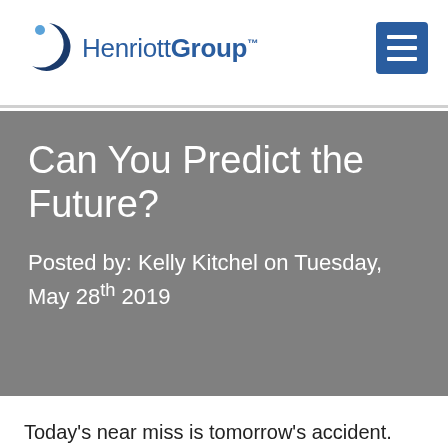[Figure (logo): Henriott Group logo with crescent moon/circle icon and blue text]
Can You Predict the Future?
Posted by: Kelly Kitchel on Tuesday, May 28th 2019
Today's near miss is tomorrow's accident. You